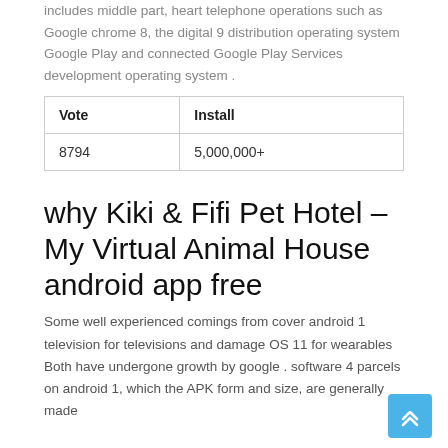includes middle part, heart telephone operations such as Google chrome 8, the digital 9 distribution operating system Google Play and connected Google Play Services development operating system .
| Vote | Install |
| --- | --- |
| 8794 | 5,000,000+ |
why Kiki & Fifi Pet Hotel – My Virtual Animal House android app free
Some well experienced comings from cover android 1 television for televisions and damage OS 11 for wearables Both have undergone growth by google . software 4 parcels on android 1, which the APK form and size, are generally made